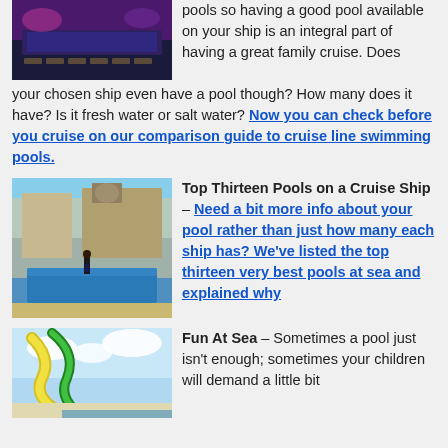[Figure (photo): Cruise ship pool deck with lounge chairs and purple/pink lighting at night]
pools so having a good pool available on your ship is an integral part of having a great family cruise. Does your chosen ship even have a pool though? How many does it have? Is it fresh water or salt water? Now you can check before you cruise on our comparison guide to cruise line swimming pools.
[Figure (photo): Person standing at edge of cruise ship pool with blue sky and ship structure in background]
Top Thirteen Pools on a Cruise Ship – Need a bit more info about your pool rather than just how many each ship has? We've listed the top thirteen very best pools at sea and explained why
[Figure (photo): Colorful waterslide on a cruise ship with blue sky background]
Fun At Sea – Sometimes a pool just isn't enough; sometimes your children will demand a little bit